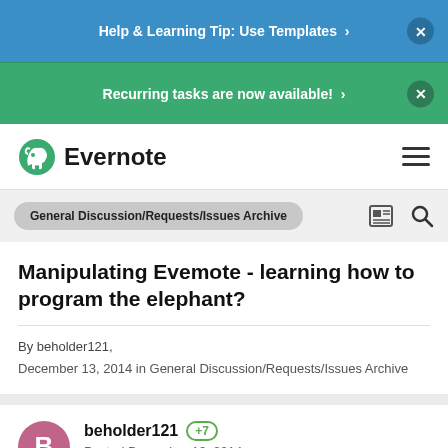Help & Learning Tip: Use Templates  ×
Recurring tasks are now available!  ×
Evernote
General Discussion/Requests/Issues Archive
Manipulating Evemote - learning how to program the elephant?
By beholder121,
December 13, 2014 in General Discussion/Requests/Issues Archive
beholder121  +7
Posted December 13, 2014